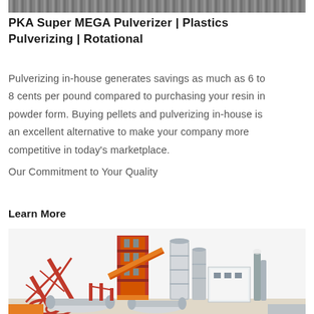[Figure (photo): Top portion of industrial machinery image, partially cropped at top of page]
PKA Super MEGA Pulverizer | Plastics Pulverizing | Rotational
Pulverizing in-house generates savings as much as 6 to 8 cents per pound compared to purchasing your resin in powder form. Buying pellets and pulverizing in-house is an excellent alternative to make your company more competitive in today’s marketplace. Our Commitment to Your Quality
Learn More
[Figure (photo): Large industrial plant with orange steel framework structure, conveyor belt, tall silos, cylindrical storage tanks, and industrial equipment on a white background]